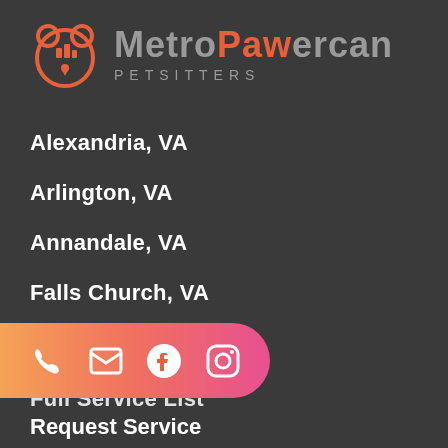[Figure (logo): MetroPawErcan Petsitters logo with orange paw/dog icon and stylized text]
Alexandria, VA
Arlington, VA
Annandale, VA
Falls Church, VA
About Us
Full Service List
[Figure (infographic): Gradient orange-to-pink social media bar with phone, email, Facebook, and Instagram icons]
Request Service